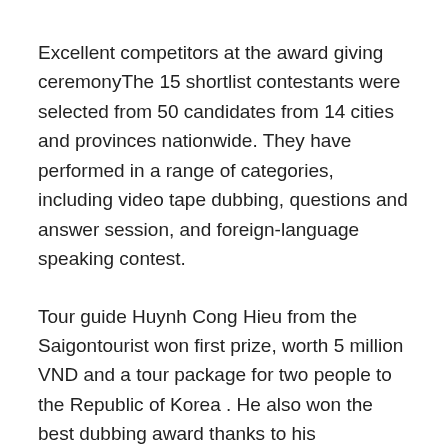Excellent competitors at the award giving ceremonyThe 15 shortlist contestants were selected from 50 candidates from 14 cities and provinces nationwide. They have performed in a range of categories, including video tape dubbing, questions and answer session, and foreign-language speaking contest.
Tour guide Huynh Cong Hieu from the Saigontourist won first prize, worth 5 million VND and a tour package for two people to the Republic of Korea . He also won the best dubbing award thanks to his presentation on Hoi An Town.
Runners-up Nguyen Hong Nguyen from Hanoitourist and Nguyen Quynh from the Saigontourist won VND4 million